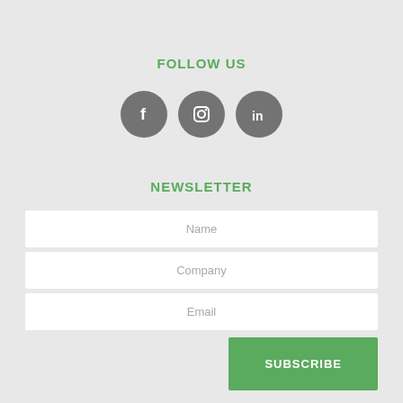FOLLOW US
[Figure (illustration): Three social media icons in dark grey circles: Facebook (f), Instagram (camera), LinkedIn (in)]
NEWSLETTER
Name
Company
Email
SUBSCRIBE